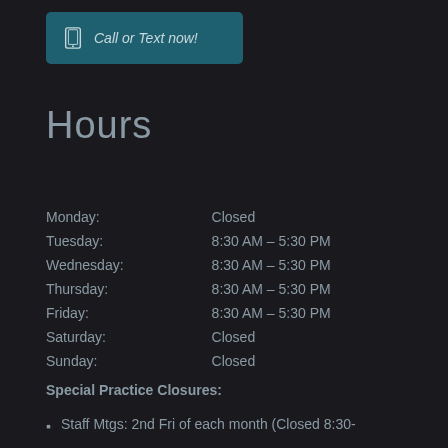[Figure (other): Teal rounded rectangle button with phone icon and text 'Call or Text now!']
Hours
| Monday: | Closed |
| Tuesday: | 8:30 AM - 5:30 PM |
| Wednesday: | 8:30 AM - 5:30 PM |
| Thursday: | 8:30 AM - 5:30 PM |
| Friday: | 8:30 AM - 5:30 PM |
| Saturday: | Closed |
| Sunday: | Closed |
Special Practice Closures:
Staff Mtgs: 2nd Fri of each month (Closed 8:30-